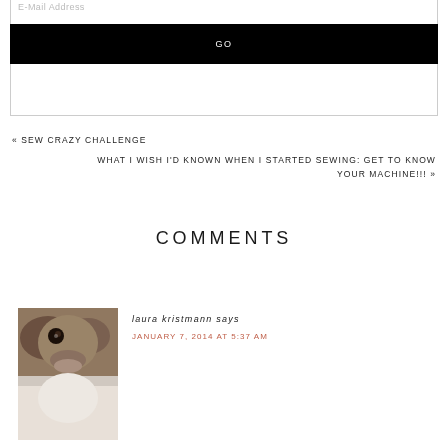E-Mail Address
GO
« SEW CRAZY CHALLENGE
WHAT I WISH I'D KNOWN WHEN I STARTED SEWING: GET TO KNOW YOUR MACHINE!!! »
COMMENTS
[Figure (photo): Avatar photo of a dog, brown/tan coloring, close-up of face]
laura kristmann says
JANUARY 7, 2014 AT 5:37 AM